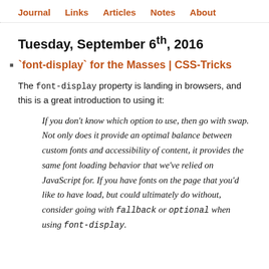Journal   Links   Articles   Notes   About
Tuesday, September 6th, 2016
`font-display` for the Masses | CSS-Tricks
The font-display property is landing in browsers, and this is a great introduction to using it:
If you don't know which option to use, then go with swap. Not only does it provide an optimal balance between custom fonts and accessibility of content, it provides the same font loading behavior that we've relied on JavaScript for. If you have fonts on the page that you'd like to have load, but could ultimately do without, consider going with fallback or optional when using font-display.